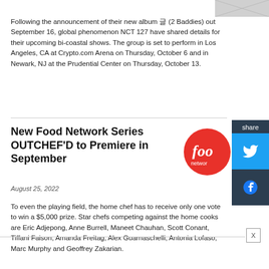[Figure (photo): Partial image visible at top right corner of the page]
Following the announcement of their new album 글 (2 Baddies) out September 16, global phenomenon NCT 127 have shared details for their upcoming bi-coastal shows. The group is set to perform in Los Angeles, CA at Crypto.com Arena on Thursday, October 6 and in Newark, NJ at the Prudential Center on Thursday, October 13.
New Food Network Series OUTCHEF'D to Premiere in September
August 25, 2022
[Figure (logo): Food Network red circular logo with 'foo' text visible]
To even the playing field, the home chef has to receive only one vote to win a $5,000 prize. Star chefs competing against the home cooks are Eric Adjepong, Anne Burrell, Maneet Chauhan, Scott Conant, Tiffani Faison, Amanda Freitag, Alex Guarnaschelli, Antonia Lofaso, Marc Murphy and Geoffrey Zakarian.